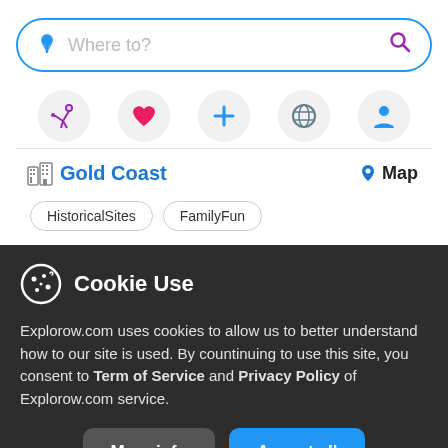[Figure (screenshot): Search bar with location pin icon and placeholder text 'Where to?' and purple magnifying glass icon, styled with blue border and rounded corners]
[Figure (infographic): Row of five circular icon buttons: purple running person, pink heart, blue plus, blue globe, blue person/profile]
Gold Coast   Map
HistoricalSites   FamilyFun
Cookie Use
Explorow.com uses cookies to allow us to better understand how to our site is used. By countinuing to use this site, you consent to Term of Service and Privacy Policy of Explorow.com service.